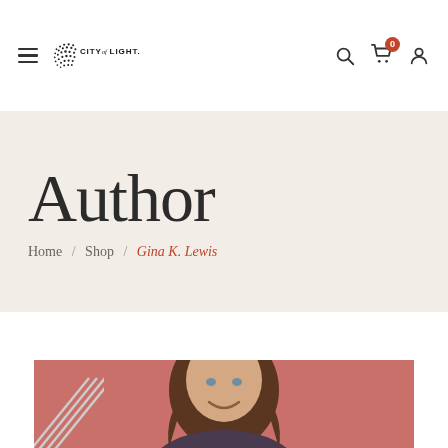City of Light — navigation bar with hamburger menu, logo, search, cart (0), and account icons
Author
Home / Shop / Gina K. Lewis
[Figure (photo): Portrait photo of Gina K. Lewis, a woman with long brown hair, smiling, against a reddish-pink background. Partially visible at the bottom of the page.]